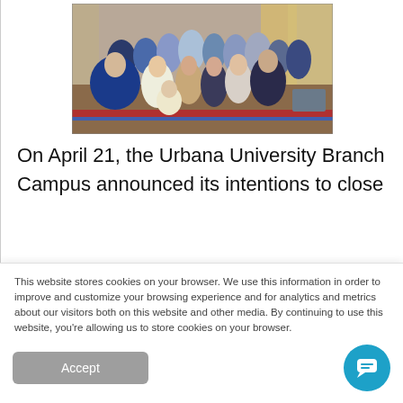[Figure (photo): Group photo of people in historical costumes and period dress, gathered together for a posed group shot in what appears to be an indoor venue with decorative curtains in the background.]
On April 21, the Urbana University Branch Campus announced its intentions to close
This website stores cookies on your browser. We use this information in order to improve and customize your browsing experience and for analytics and metrics about our visitors both on this website and other media. By continuing to use this website, you're allowing us to store cookies on your browser.